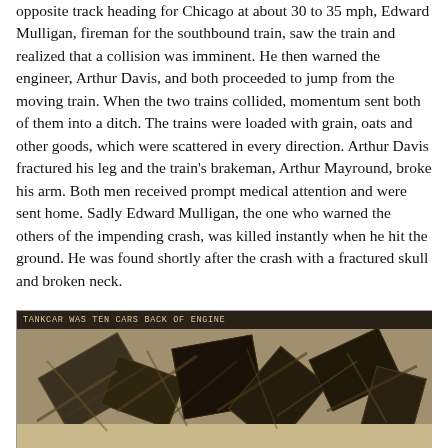opposite track heading for Chicago at about 30 to 35 mph, Edward Mulligan, fireman for the southbound train, saw the train and realized that a collision was imminent. He then warned the engineer, Arthur Davis, and both proceeded to jump from the moving train. When the two trains collided, momentum sent both of them into a ditch. The trains were loaded with grain, oats and other goods, which were scattered in every direction. Arthur Davis fractured his leg and the train's brakeman, Arthur Mayround, broke his arm. Both men received prompt medical attention and were sent home. Sadly Edward Mulligan, the one who warned the others of the impending crash, was killed instantly when he hit the ground. He was found shortly after the crash with a fractured skull and broken neck.
[Figure (photo): Black and white historical photograph of train wreckage, showing mangled and overturned railcars. A handwritten caption at the top reads 'TANKCAR WAS TEN CARS BACK OF ENGINE'.]